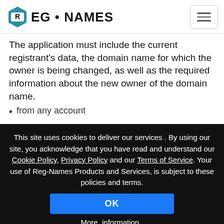REG • NAMES
The application must include the current registrant's data, the domain name for which the owner is being changed, as well as the required information about the new owner of the domain name.
from any account
When transferring from another account, the
This site uses cookies to deliver our services . By using our site, you acknowledge that you have read and understand our Cookie Policy, Privacy Policy and our Terms of Service. Your use of Reg-Names Products and Services, is subject to these policies and terms.
OK
More_information..
In order to increase security during operations